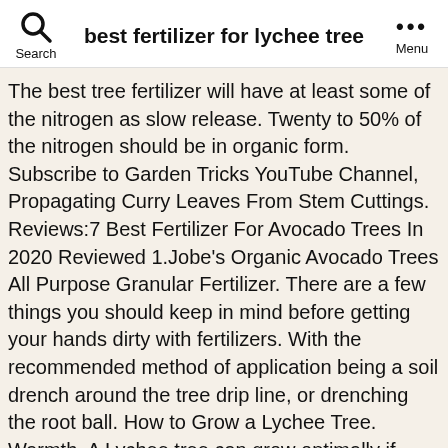best fertilizer for lychee tree
The best tree fertilizer will have at least some of the nitrogen as slow release. Twenty to 50% of the nitrogen should be in organic form. Subscribe to Garden Tricks YouTube Channel, Propagating Curry Leaves From Stem Cuttings. Reviews:7 Best Fertilizer For Avocado Trees In 2020 Reviewed 1.Jobe’s Organic Avocado Trees All Purpose Granular Fertilizer. There are a few things you should keep in mind before getting your hands dirty with fertilizers. With the recommended method of application being a soil drench around the tree drip line, or drenching the root ball. How to Grow a Lychee Tree. Warmth. A Lychee tree can grow optimally if saved from wind and provided with a proper sun site. How to Grow a Lychee Tree. Remember to water the ground well before you try. Best Lychee Fertilizer nitrate reduction to ammonia. With fast growth, healthy looking trees, and increased fruit yield. Occasional fertilizer. These are some of the important things to consider when choosing a product.